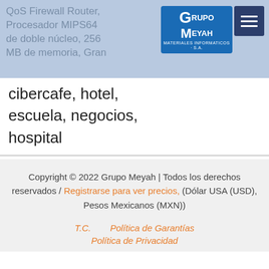QoS Firewall Router, Procesador MIPS64 de doble núcleo, 256 MB de memoria, Gran cibercafe, hotel, escuela, negocios, hospital
[Figure (logo): Grupo Meyah logo — blue rectangle with stylized GM letters and Grupo Meyah text]
cibercafe, hotel, escuela, negocios, hospital
Copyright © 2022 Grupo Meyah | Todos los derechos reservados / Registrarse para ver precios, (Dólar USA (USD), Pesos Mexicanos (MXN))
T.C.    Política de Garantías    Política de Privacidad